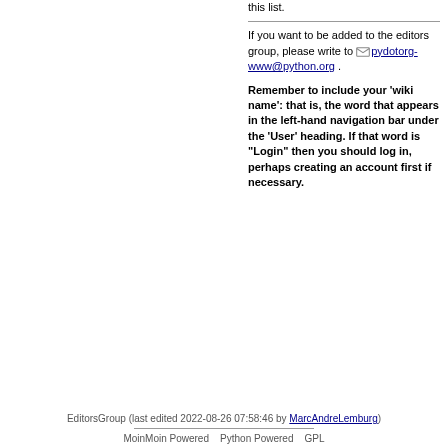this list.
If you want to be added to the editors group, please write to pydotorg-www@python.org .
Remember to include your 'wiki name': that is, the word that appears in the left-hand navigation bar under the 'User' heading. If that word is "Login" then you should log in, perhaps creating an account first if necessary.
EditorsGroup (last edited 2022-08-26 07:58:46 by MarcAndreLemburg)
MoinMoin Powered   Python Powered   GPL